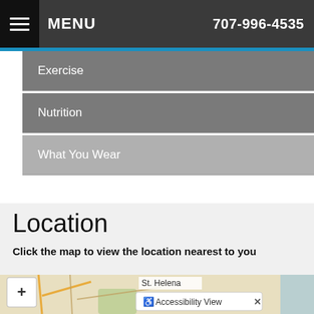MENU  707-996-4535
Exercise
Nutrition
What You Wear
Location
Click the map to view the location nearest to you
[Figure (map): Street map showing St. Helena area with zoom control, roads, and accessibility view popup]